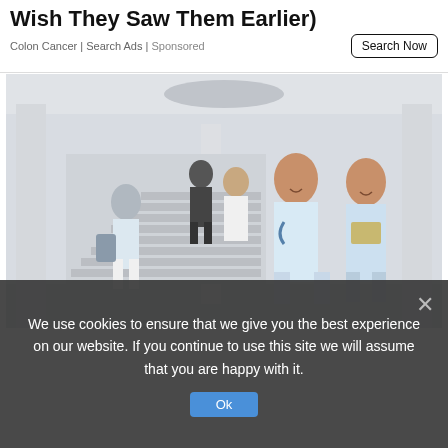Wish They Saw Them Earlier)
Colon Cancer | Search Ads | Sponsored
[Figure (photo): Hospital corridor scene with nursing students or medical professionals in light blue scrubs walking and laughing, with a staircase in the background and large white columns]
We use cookies to ensure that we give you the best experience on our website. If you continue to use this site we will assume that you are happy with it.